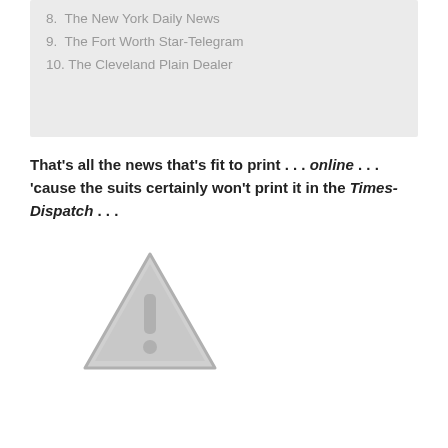8. The New York Daily News
9. The Fort Worth Star-Telegram
10. The Cleveland Plain Dealer
That's all the news that's fit to print . . . online . . . 'cause the suits certainly won't print it in the Times-Dispatch . . .
[Figure (illustration): A grey warning/caution triangle icon with an exclamation mark inside]